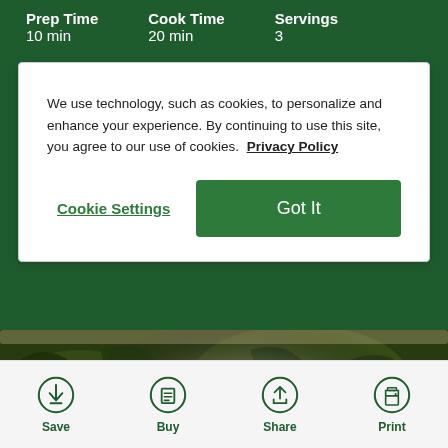Prep Time 10 min | Cook Time 20 min | Servings 3
We use technology, such as cookies, to personalize and enhance your experience. By continuing to use this site, you agree to our use of cookies. Privacy Policy
Cookie Settings | Got It
[Figure (photo): Close-up photo of baked kale chips in a baking dish, covered with white cream or sauce, on a dark green background.]
Save | Buy | Share | Print